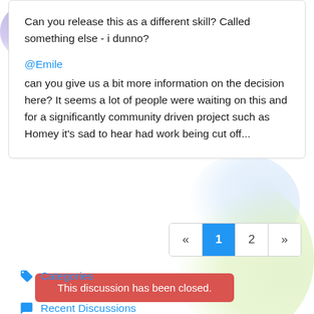Can you release this as a different skill?  Called something else - i dunno?
@Emile
can you give us a bit more information on the decision here? It seems a lot of people were waiting on this and for a significantly community driven project such as Homey it's sad to hear had work being cut off...
« 1 2 »
This discussion has been closed.
Categories
Recent Discussions